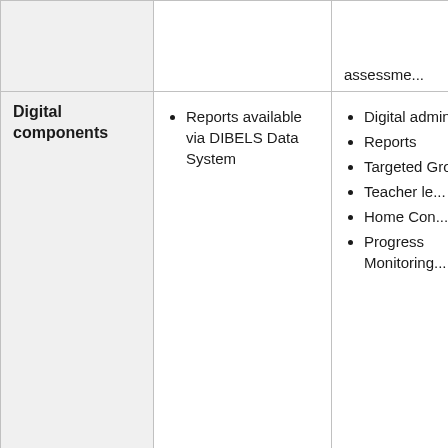|  | DIBELS 8th Edition | mCLASS |
| --- | --- | --- |
|  | assessment... | assessment... |
| Digital components | Reports available via DIBELS Data System | Digital administra...
Reports
Targeted Groups
Teacher le... lessons
Home Con...
Progress Monitoring... |
| Reporting | Benchmark and progress monitoring for total score via DIBELS Data ... | Entirely digital
Benchmar... and progr... monitoring... reports wi... |